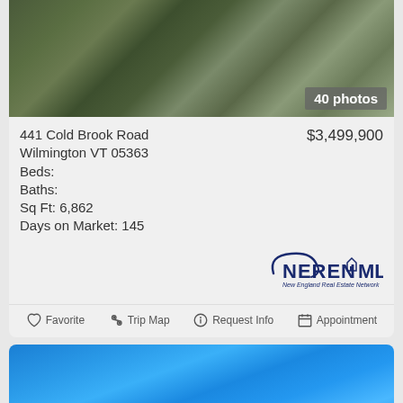[Figure (photo): Exterior photo of property with green landscaping, shrubs and stone pathway, with '40 photos' badge overlay]
441 Cold Brook Road
Wilmington VT 05363
Beds:
Baths:
Sq Ft: 6,862
Days on Market: 145
$3,499,900
[Figure (logo): NEREN MLS - New England Real Estate Network logo]
Favorite  Trip Map  Request Info  Appointment
[Figure (photo): Blue sky exterior photo of second property listing]